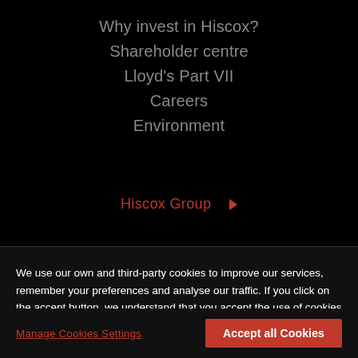Why invest in Hiscox?
Shareholder centre
Lloyd's Part VII
Careers
Environment
Hiscox Group ▶
We use our own and third-party cookies to improve our services, remember your preferences and analyse our traffic. If you click on the accept button, we understand that you accept the use of cookies on our website. For more information visit our cookie policy
Manage Cookies Settings
Accept all Cookies